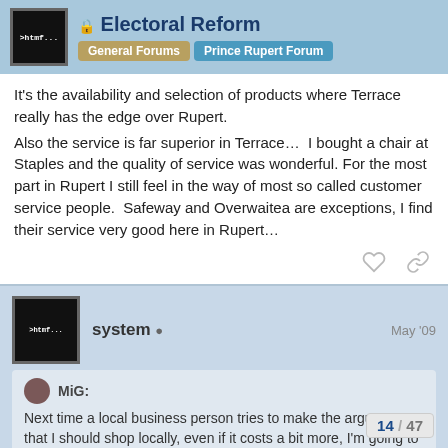Electoral Reform — General Forums | Prince Rupert Forum
It's the availability and selection of products where Terrace really has the edge over Rupert.
Also the service is far superior in Terrace…  I bought a chair at Staples and the quality of service was wonderful. For the most part in Rupert I still feel in the way of most so called customer service people.  Safeway and Overwaitea are exceptions, I find their service very good here in Rupert…
system — May '09
MiG:
Next time a local business person tries to make the argument that I should shop locally, even if it costs a bit more, I'm going to bring up the ferries.